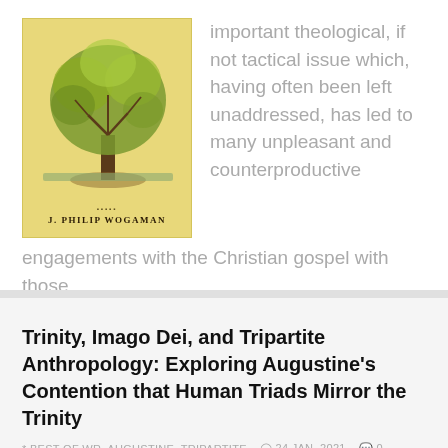[Figure (illustration): Book cover with tree illustration and author name J. Philip Wogaman on yellow background]
important theological, if not tactical issue which, having often been left unaddressed, has led to many unpleasant and counterproductive engagements with the Christian gospel with those...
MORE
Trinity, Imago Dei, and Tripartite Anthropology: Exploring Augustine's Contention that Human Triads Mirror the Trinity
* BEST OF WR, AUGUSTINE, TRIPARTITE   24 JAN, 2021   0